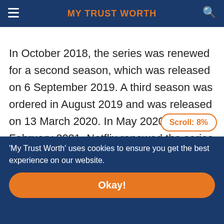MY TRUST WORTH
In October 2018, the series was renewed for a second season, which was released on 6 September 2019. A third season was ordered in August 2019 and was released on 13 March 2020. In May 2020 and February 2021, Netflix renewed the series for a fourth and fifth season. The fourth season was released on 18 June 2021, with the fifth season scheduled to be released in 2022.
Scroll: 8%
'My Trust Worth' uses cookies to ensure you get the best experience on our website.
Okay!